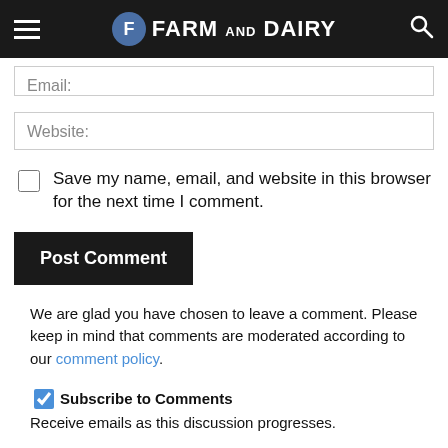Farm and Dairy
Email:
Website:
Save my name, email, and website in this browser for the next time I comment.
Post Comment
We are glad you have chosen to leave a comment. Please keep in mind that comments are moderated according to our comment policy.
Subscribe to Comments
Receive emails as this discussion progresses.